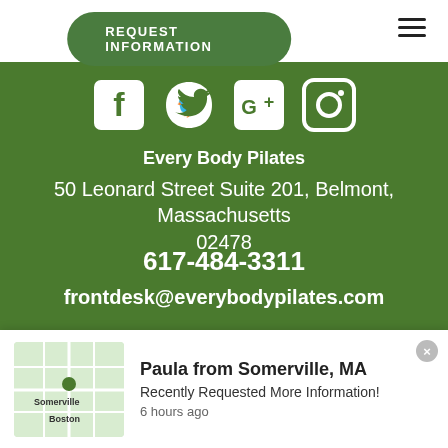REQUEST INFORMATION
[Figure (logo): Social media icons: Facebook, Twitter, Google+, Instagram in white on green background]
Every Body Pilates
50 Leonard Street Suite 201, Belmont, Massachusetts 02478
617-484-3311
frontdesk@everybodypilates.com
COPYRIGHT © 2022 - FITNESS WEBSITES DEVELOPED BY 97DISPLAY WEBSITES / PRIVACY POLICY
Paula from Somerville, MA
Recently Requested More Information!
6 hours ago